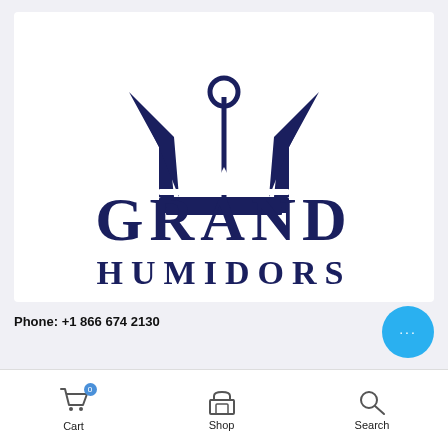[Figure (logo): Grand Humidors logo: a dark navy crown icon above the text GRAND in large serif letters and HUMIDORS in spaced serif letters, all dark navy on white background]
Phone: +1 866 674 2130
Cart  Shop  Search